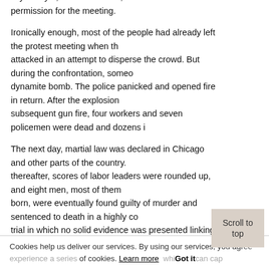Square to protest police brutality, even though the city's mayor, Carter Harrison, had given permission for the meeting.
Ironically enough, most of the people had already left the protest meeting when the police attacked in an attempt to disperse the crowd. But during the confrontation, someone threw a dynamite bomb. The police panicked and opened fire in return. After the explosion and subsequent gun fire, four workers and seven policemen were dead and dozens injured.
The next day, martial law was declared in Chicago and other parts of the country. Shortly thereafter, scores of labor leaders were rounded up, and eight men, most of them foreign born, were eventually found guilty of murder and sentenced to death in a highly controversial trial in which no solid evidence was presented linking them to the bombing of May 4th at Haymarket Square.
The Haymarket Affair also led to an explosion in xenophobia and started the first "Red Scare" in the United States, courtesy of big business and the government.
Additionally, it led to a much more reformist labor movement with the birth of the American Federation of Labor whose first and longest-serving president, Samuel Gompers, was a pro-capitalist and had no interest in uniting the working class.
Cookies help us deliver our services. By using our services, you agree to our use of cookies. Learn more  Got it